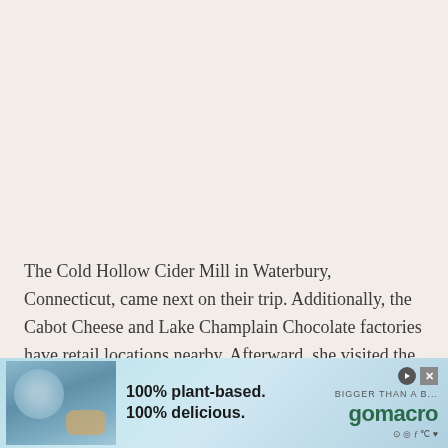The Cold Hollow Cider Mill in Waterbury, Connecticut, came next on their trip. Additionally, the Cabot Cheese and Lake Champlain Chocolate factories have retail locations nearby. Afterward, she visited the Ben & Jerry's factory. Every dessert-lover will consider the place heaven. The cream and sugar are stacked high in those silos. Visitors can create the
[Figure (other): Advertisement banner for gomacro: '100% plant-based. 100% delicious.' with gomacro logo and product imagery on a blue background]